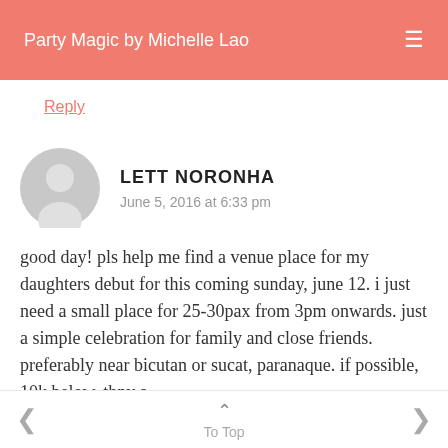Party Magic by Michelle Lao
Reply
LETT NORONHA
June 5, 2016 at 6:33 pm
good day! pls help me find a venue place for my daughters debut for this coming sunday, june 12. i just need a small place for 25-30pax from 3pm onwards. just a simple celebration for family and close friends. preferably near bicutan or sucat, paranaque. if possible, 10k below. thny a
To Top